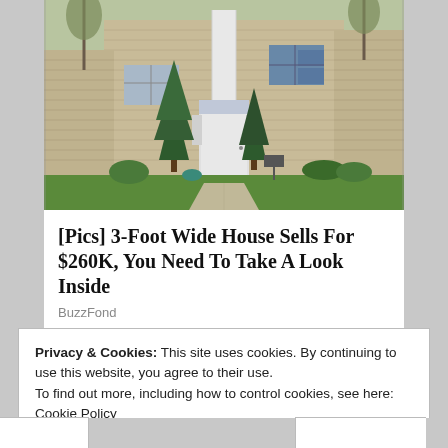[Figure (photo): Exterior photo of a beige/tan house with white door, evergreen trees in front, green lawn, and concrete walkway]
[Pics] 3-Foot Wide House Sells For $260K, You Need To Take A Look Inside
BuzzFond
[Figure (logo): Picture Mushroom app logo — red mushroom icon with corner bracket frame, with text 'sponsored by Picture Mushroom']
Privacy & Cookies: This site uses cookies. By continuing to use this website, you agree to their use.
To find out more, including how to control cookies, see here: Cookie Policy
Close and accept